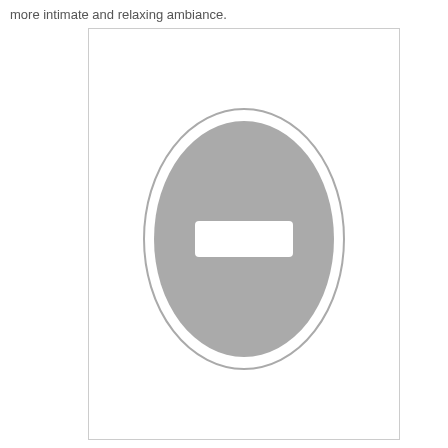more intimate and relaxing ambiance.
[Figure (photo): A placeholder image represented by a grey oval with a white rectangle in the center, set against a white background with a light grey border.]